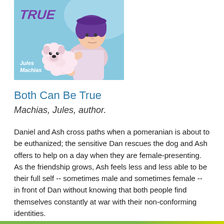[Figure (illustration): Book cover for 'Both Can Be True' by Jules Machias. Light blue background with illustrated purple-haired boy holding a small white/pink pomeranian dog. Title text in purple italic uppercase letters, author name in white italic at bottom left.]
Both Can Be True
Machias, Jules, author.
Daniel and Ash cross paths when a pomeranian is about to be euthanized; the sensitive Dan rescues the dog and Ash offers to help on a day when they are female-presenting. As the friendship grows, Ash feels less and less able to be their full self -- sometimes male and sometimes female -- in front of Dan without knowing that both people find themselves constantly at war with their non-conforming identities.